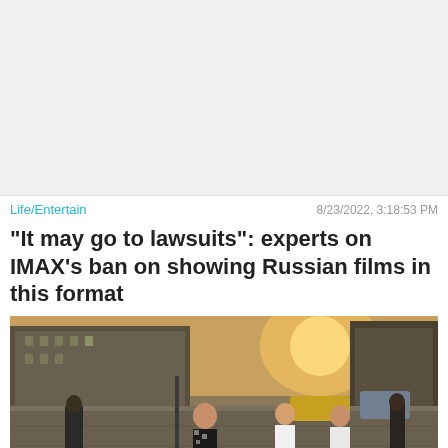[Figure (other): Gray advertisement banner placeholder at top of page]
Life/Entertain
8/23/2022, 3:18:53 PM
“It may go to lawsuits”: experts on IMAX’s ban on showing Russian films in this format
[Figure (photo): Street scene photo showing people walking across a city plaza or street with buildings in the background and warm sunset light]
Close X
[Figure (infographic): Advertisement banner for 'Hold and Move' app showing blue cartoon figures and striped background]